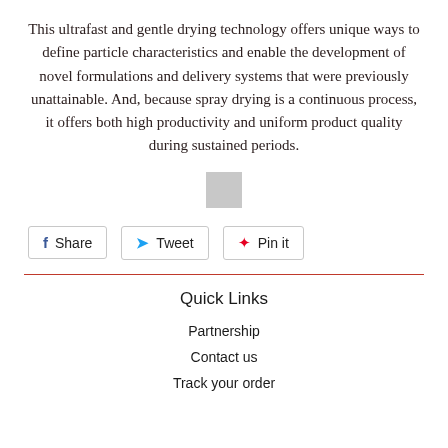This ultrafast and gentle drying technology offers unique ways to define particle characteristics and enable the development of novel formulations and delivery systems that were previously unattainable. And, because spray drying is a continuous process, it offers both high productivity and uniform product quality during sustained periods.
[Figure (other): Small gray square decorative element]
Share  Tweet  Pin it
Quick Links
Partnership
Contact us
Track your order